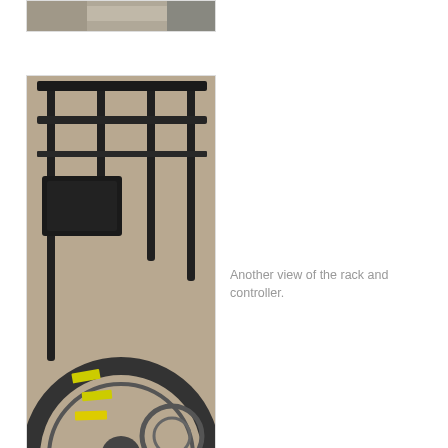[Figure (photo): Partial top view of bicycle component, mostly cropped out of frame]
[Figure (photo): Bicycle rear rack with battery/controller mounted, showing tire with yellow markings]
Another view of the rack and controller.
[Figure (photo): Close-up of bicycle fork/suspension component, silver metal tube and wheel]
[Figure (photo): Close-up of bicycle motor hub assembly with silver and black components]